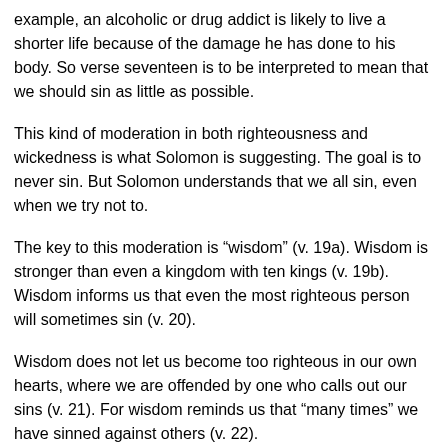example, an alcoholic or drug addict is likely to live a shorter life because of the damage he has done to his body. So verse seventeen is to be interpreted to mean that we should sin as little as possible.
This kind of moderation in both righteousness and wickedness is what Solomon is suggesting. The goal is to never sin. But Solomon understands that we all sin, even when we try not to.
The key to this moderation is “wisdom” (v. 19a). Wisdom is stronger than even a kingdom with ten kings (v. 19b). Wisdom informs us that even the most righteous person will sometimes sin (v. 20).
Wisdom does not let us become too righteous in our own hearts, where we are offended by one who calls out our sins (v. 21). For wisdom reminds us that “many times” we have sinned against others (v. 22).